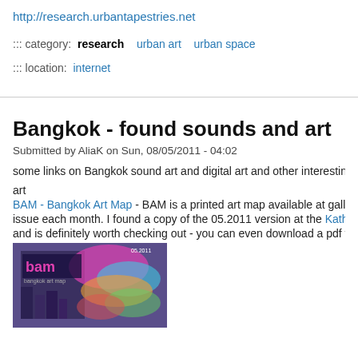http://research.urbantapestries.net
::: category:  research    urban art    urban space
::: location:  internet
Bangkok - found sounds and art
Submitted by AliaK on Sun, 08/05/2011 - 04:02
some links on Bangkok sound art and digital art and other interesting blogs /
art
BAM - Bangkok Art Map - BAM is a printed art map available at galleries, h
issue each month. I found a copy of the 05.2011 version at the Kathmandu Ph
and is definitely worth checking out - you can even download a pdf version o
[Figure (photo): Photo of Bangkok Art Map (BAM) 05.2011 issue cover, colorful illustrated design]